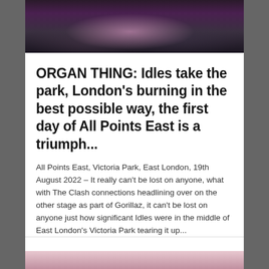[Figure (photo): Crowd photo at a music festival, person in pink/purple top visible among crowd, dark/night atmosphere]
ORGAN THING: Idles take the park, London's burning in the best possible way, the first day of All Points East is a triumph...
All Points East, Victoria Park, East London, 19th August 2022 – It really can't be lost on anyone, what with The Clash connections headlining over on the other stage as part of Gorillaz, it can't be lost on anyone just how significant Idles were in the middle of East London's Victoria Park tearing it up...
3 hours ago in MUSIC.
[Figure (photo): Partial view of another article photo at the bottom of the page]